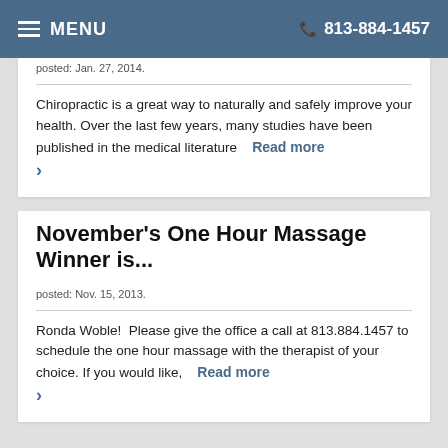MENU  813-884-1457
posted: Jan. 27, 2014.
Chiropractic is a great way to naturally and safely improve your health. Over the last few years, many studies have been published in the medical literature   Read more >
November's One Hour Massage Winner is...
posted: Nov. 15, 2013.
Ronda Woble!  Please give the office a call at 813.884.1457 to schedule the one hour massage with the therapist of your choice. If you would like,   Read more >